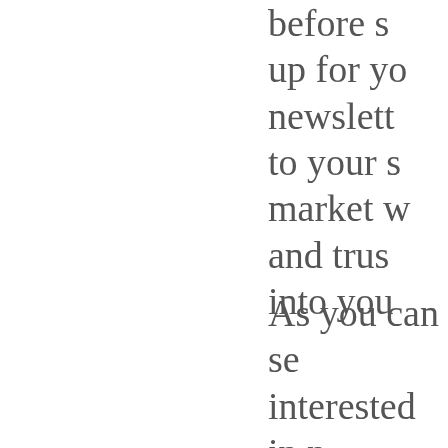before s up for yo newslett to your s market w and trus into you
As you can se interested in n newsletters fo well become o our next lesso